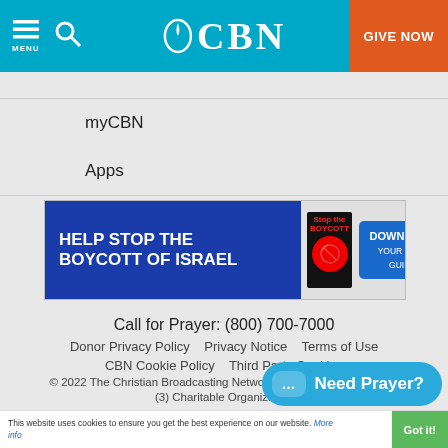CBN — Menu, Search, GIVE NOW
myCBN
Apps
[Figure (infographic): Ad banner: HELP STOP THE BOYCOTT OF ISRAEL — DOWNLOAD YOUR FREE GUIDE]
Call for Prayer: (800) 700-7000
Donor Privacy Policy   Privacy Notice   Terms of Use
CBN Cookie Policy   Third Party Cookies
© 2022 The Christian Broadcasting Network, Inc., A nonprofit 501 (c) (3) Charitable Organization
[Figure (infographic): Need Prayer? chat button (teal pill-shaped button with chat bubble icon)]
This website uses cookies to ensure you get the best experience on our website. More info  Got it!